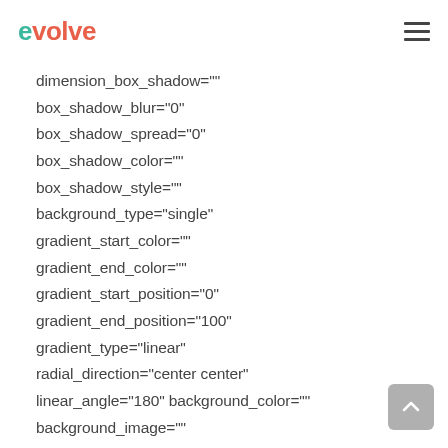evolve
dimension_box_shadow=""
box_shadow_blur="0"
box_shadow_spread="0"
box_shadow_color=""
box_shadow_style=""
background_type="single"
gradient_start_color=""
gradient_end_color=""
gradient_start_position="0"
gradient_end_position="100"
gradient_type="linear"
radial_direction="center center"
linear_angle="180" background_color=""
background_image=""